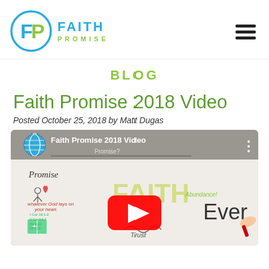[Figure (logo): Faith Promise church logo with circular FP monogram and text FAITH PROMISE]
BLOG
Faith Promise 2018 Video
Posted October 25, 2018 by Matt Dugas
[Figure (screenshot): YouTube video thumbnail for Faith Promise 2018 Video showing whiteboard drawing with text Promise, Faith, Abundance, Every, Trust, Whatever God lays on your heart, with YouTube play button overlay]